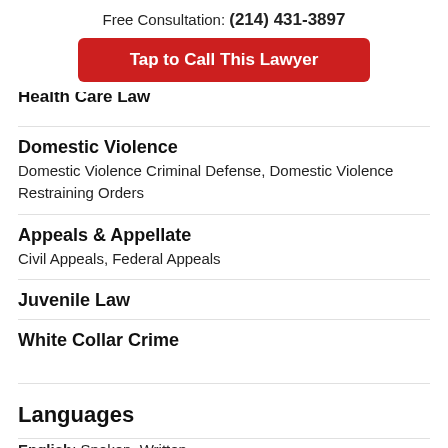Free Consultation: (214) 431-3897
Tap to Call This Lawyer
Health Care Law
Domestic Violence
Domestic Violence Criminal Defense, Domestic Violence Restraining Orders
Appeals & Appellate
Civil Appeals, Federal Appeals
Juvenile Law
White Collar Crime
Languages
English: Spoken, Written